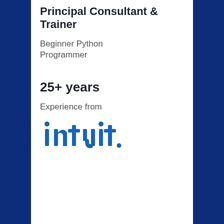Principal Consultant & Trainer
Beginner Python Programmer
25+ years
Experience from
[Figure (logo): Intuit company logo in blue]